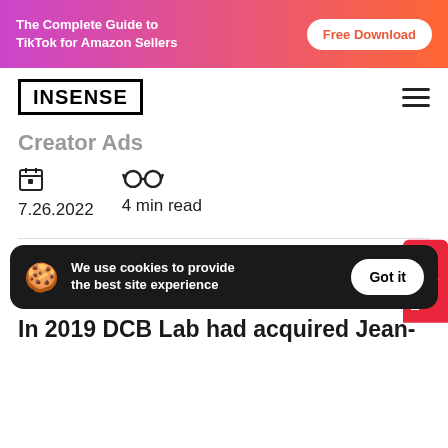The Complete Guide to TikTok for Amazon Sellers — Free Download
[Figure (logo): INSENSE logo in bold black text with rectangular border]
Creator Ads
7.26.2022   4 min read
We use cookies to provide the best site experience   Got it
In 2019 DCB Lab had acquired Jean-